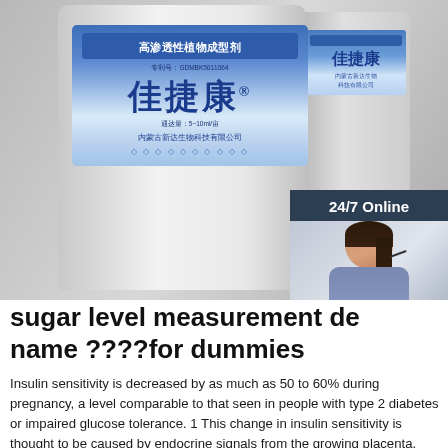[Figure (photo): Photo of two grey plastic containers (buckets) with Chinese product labels. The main label shows '高渗透性植物成型剂' at the top in a blue bar, large Chinese characters '佳捷康' in blue, and company name '内蒙古新达生物科技有限公司'. Overlaid on the right side is a '24/7 Online' customer service chat banner with a photo of a woman with a headset, and buttons saying 'Click here for free chat!' and 'QUOTATION'.]
sugar level measurement device name ????for dummies
Insulin sensitivity is decreased by as much as 50 to 60% during pregnancy, a level comparable to that seen in people with type 2 diabetes or impaired glucose tolerance. 1 This change in insulin sensitivity is thought to be caused by endocrine signals from the growing placenta, and has evolved to aid fetal development. 2 During pregnancy the ...